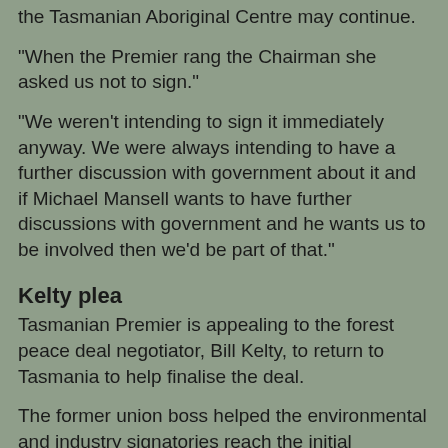the Tasmanian Aboriginal Centre may continue.
"When the Premier rang the Chairman she asked us not to sign."
"We weren't intending to sign it immediately anyway. We were always intending to have a further discussion with government about it and if Michael Mansell wants to have further discussions with government and he wants us to be involved then we'd be part of that."
Kelty plea
Tasmanian Premier is appealing to the forest peace deal negotiator, Bill Kelty, to return to Tasmania to help finalise the deal.
The former union boss helped the environmental and industry signatories reach the initial agreement to end logging in most public native forests.
The signatories now have to agree on the boundaries of protected forest, based on the findings of an independent panel which has assessed 572,000...